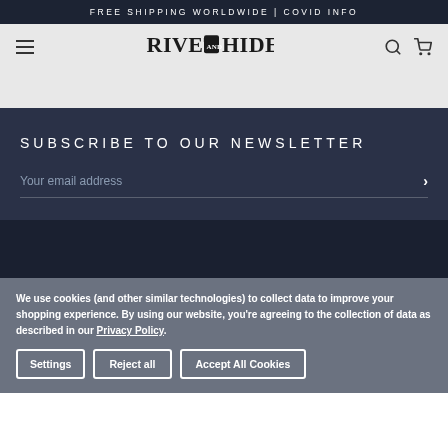FREE SHIPPING WORLDWIDE | COVID INFO
[Figure (logo): Rivet and Hide logo with hamburger menu, search icon, and cart icon in navigation bar]
SUBSCRIBE TO OUR NEWSLETTER
Your email address
We use cookies (and other similar technologies) to collect data to improve your shopping experience. By using our website, you're agreeing to the collection of data as described in our Privacy Policy.
Settings
Reject all
Accept All Cookies